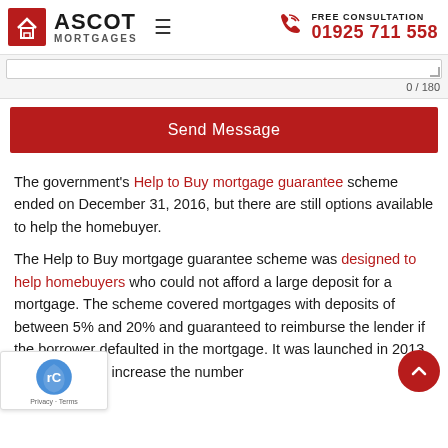ASCOT MORTGAGES — FREE CONSULTATION 01925 711 558
0 / 180
Send Message
The government's Help to Buy mortgage guarantee scheme ended on December 31, 2016, but there are still options available to help the homebuyer.
The Help to Buy mortgage guarantee scheme was designed to help homebuyers who could not afford a large deposit for a mortgage. The scheme covered mortgages with deposits of between 5% and 20% and guaranteed to reimburse the lender if the borrower defaulted in the mortgage. It was launched in 2013 with the aim to increase the number